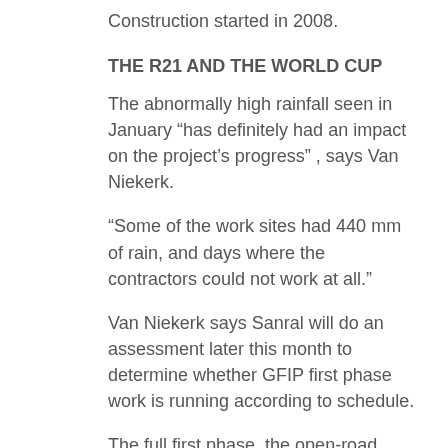Construction started in 2008.
THE R21 AND THE WORLD CUP
The abnormally high rainfall seen in January â€œhas definitely had an impact on the project's progressâ€ , says Van Niekerk.
â€œSome of the work sites had 440 mm of rain, and days where the contractors could not work at all.â€
Van Niekerk says Sanral will do an assessment later this month to determine whether GFIP first phase work is running according to schedule.
The full first phase, the open-road tolling system included, is to be operational in 2011.
â€œIn December, things looked good, but this may now have changed,â€  he adds.
He says Sanral will use the assessment to determine